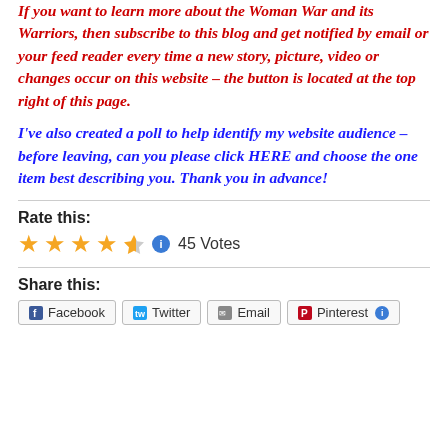If you want to learn more about the Woman War and its Warriors, then subscribe to this blog and get notified by email or your feed reader every time a new story, picture, video or changes occur on this website – the button is located at the top right of this page.
I've also created a poll to help identify my website audience – before leaving, can you please click HERE and choose the one item best describing you. Thank you in advance!
Rate this:
[Figure (other): 4.5 out of 5 stars rating with info icon and 45 Votes label]
Share this:
Facebook  Twitter  Email  Pinterest